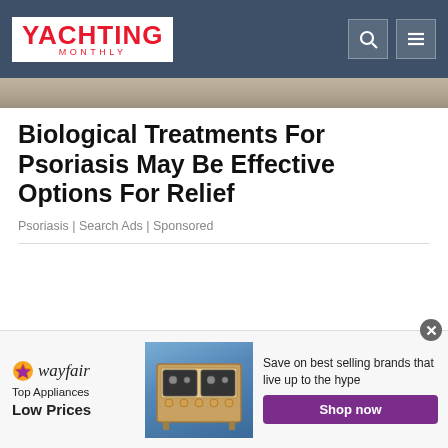YACHTING MONTHLY
[Figure (photo): Partial hero image strip showing a person outdoors]
Biological Treatments For Psoriasis May Be Effective Options For Relief
Psoriasis | Search Ads | Sponsored
[Figure (screenshot): Wayfair advertisement banner: Top Appliances Low Prices. Save on best selling brands that live up to the hype. Shop now button. Image of a range cooker.]